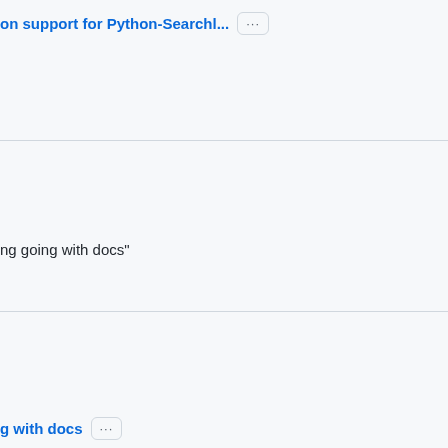on support for Python-Searchl... ···
3 years ago
ng going with docs"
3 years ago
g with docs ···